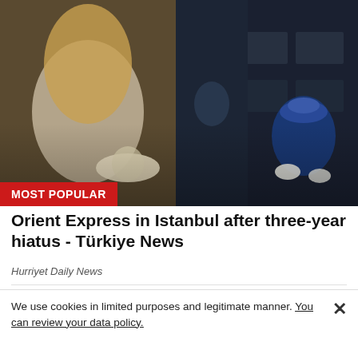[Figure (photo): Photo of a woman with long blonde hair holding a hat boarding a dark blue luxury train, with a uniformed attendant in blue hat and white gloves visible on the right. The Orient Express is depicted.]
MOST POPULAR
Orient Express in Istanbul after three-year hiatus - Türkiye News
Hurriyet Daily News
[Figure (photo): Partially visible second photo at the bottom of the page, showing what appears to be a table setting or outdoor scene in muted blue-gray tones.]
We use cookies in limited purposes and legitimate manner. You can review your data policy.